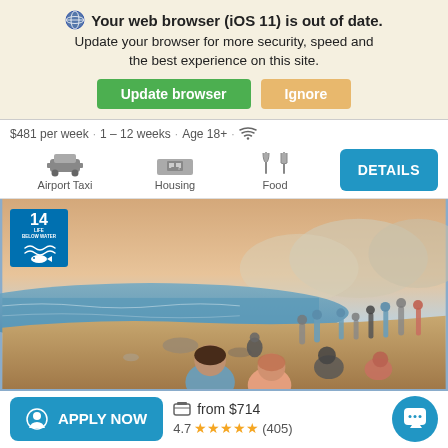Your web browser (iOS 11) is out of date. Update your browser for more security, speed and the best experience on this site.
Update browser | Ignore
$481 per week · 1 – 12 weeks · Age 18+ · WiFi
Airport Taxi | Housing | Food | DETAILS
[Figure (photo): Group of young people standing on a rocky beach at sunset, with a body of water and hills in the background. An SDG 14 Life Below Water badge is overlaid in the top-left corner.]
APPLY NOW | from $714 | 4.7 ★★★★★ (405)